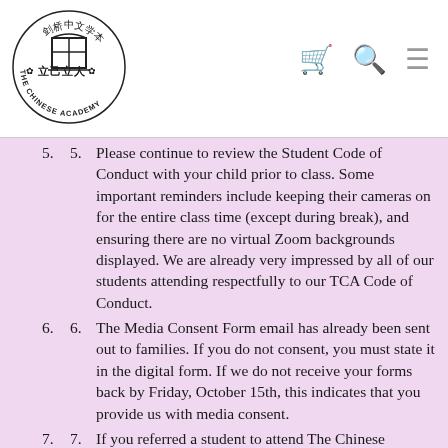[Figure (logo): The Chinese Academy logo — circular logo with Chinese characters and English text 'THE CHINESE ACADEMY', with a stylized building/doorway in the center and maple leaf symbols]
5. Please continue to review the Student Code of Conduct with your child prior to class. Some important reminders include keeping their cameras on for the entire class time (except during break), and ensuring there are no virtual Zoom backgrounds displayed. We are already very impressed by all of our students attending respectfully to our TCA Code of Conduct.
6. The Media Consent Form email has already been sent out to families. If you do not consent, you must state it in the digital form. If we do not receive your forms back by Friday, October 15th, this indicates that you provide us with media consent.
7. If you referred a student to attend The Chinese Academy as per past practice, you can collect your...